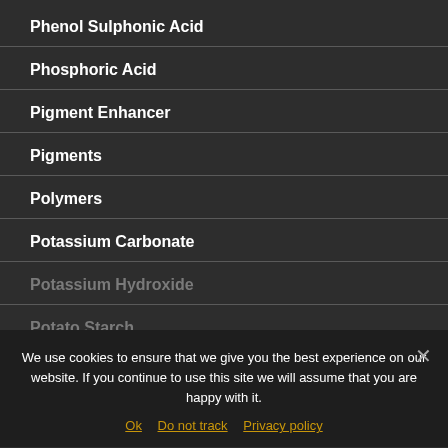Phenol Sulphonic Acid
Phosphoric Acid
Pigment Enhancer
Pigments
Polymers
Potassium Carbonate
Potassium Hydroxide
Potato Starch
We use cookies to ensure that we give you the best experience on our website. If you continue to use this site we will assume that you are happy with it.
Ok  Do not track  Privacy policy